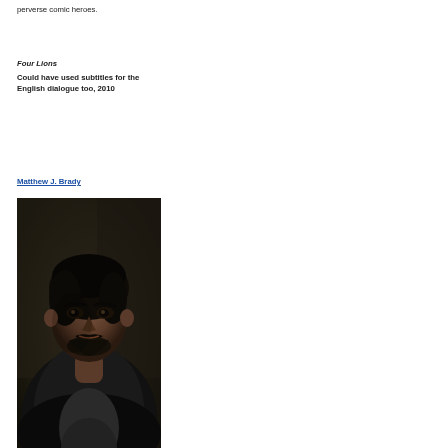perverse comic heroes.
Four Lions
Could have used subtitles for the English dialogue too, 2010
Matthew J. Brady
[Figure (photo): Dark portrait photo of a young man with dark hair, mustache and beard, wearing a black leather jacket, looking slightly to the side against a dark background.]
Man oh man, is it good to see a